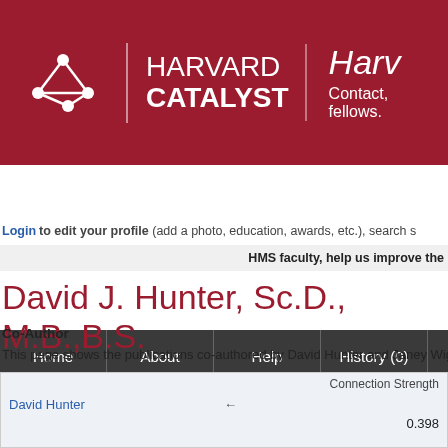[Figure (logo): Harvard Catalyst logo with network graph icon and text 'HARVARD CATALYST' plus partially visible tagline]
Harvard Catalyst — Harv... Contact, fellows.
Home | About | Help | History (0)
Login to edit your profile (add a photo, education, awards, etc.), search s
HMS faculty, help us improve the
David J. Hunter, Sc.D., M.B.,B.S.
Co-Author
This page shows the publications co-authored by David Hunter and Janey Wig
|  |  | Connection Strength |
| --- | --- | --- |
| David Hunter | ← |  |
|  |  | 0.398 |